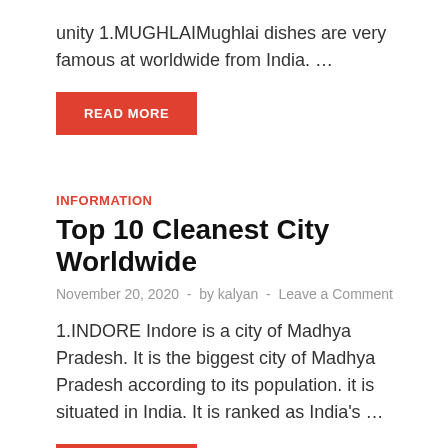unity 1.MUGHLAIMughlai dishes are very famous at worldwide from India. …
READ MORE
INFORMATION
Top 10 Cleanest City Worldwide
November 20, 2020  -  by kalyan  -  Leave a Comment
1.INDORE Indore is a city of Madhya Pradesh. It is the biggest city of Madhya Pradesh according to its population. it is situated in India. It is ranked as India's …
READ MORE
TECHNOLOGY